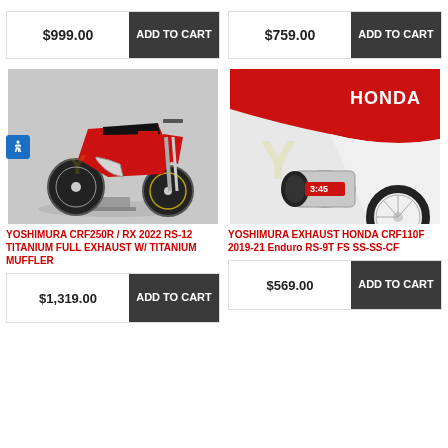$999.00
ADD TO CART
$759.00
ADD TO CART
[Figure (photo): Red Honda CRF250R dirt bike on a stand, side view, showing Yoshimura exhaust system, gray/white background]
[Figure (photo): Close-up of Honda CRF110F rear section showing red bodywork, white Honda logo, and Yoshimura RS-9T carbon fiber exhaust muffler]
YOSHIMURA CRF250R / RX 2022 RS-12 TITANIUM FULL EXHAUST W/ TITANIUM MUFFLER
YOSHIMURA EXHAUST HONDA CRF110F 2019-21 Enduro RS-9T FS SS-SS-CF
$1,319.00
ADD TO CART
$569.00
ADD TO CART